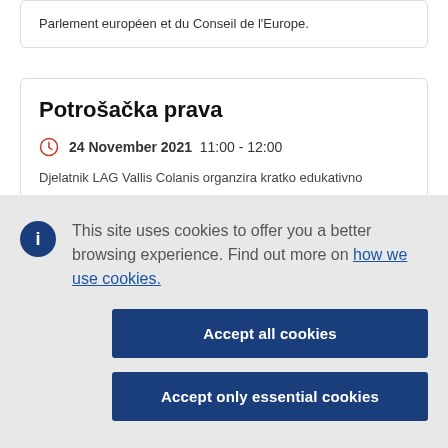Parlement européen et du Conseil de l'Europe.
Potrošačka prava
24 November 2021  11:00 - 12:00
Djelatnik LAG Vallis Colanis organzira kratko edukativno
This site uses cookies to offer you a better browsing experience. Find out more on how we use cookies.
Accept all cookies
Accept only essential cookies